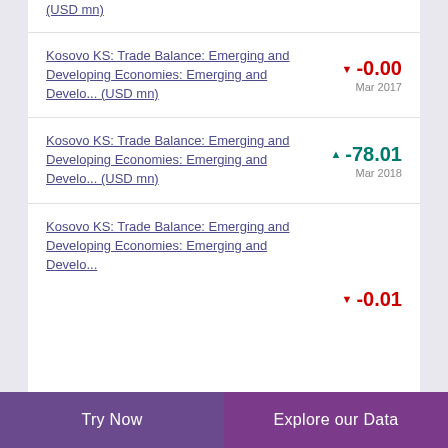(USD mn)
Kosovo KS: Trade Balance: Emerging and Developing Economies: Emerging and Develo... (USD mn) ▼ -0.00 Mar 2017
Kosovo KS: Trade Balance: Emerging and Developing Economies: Emerging and Develo... (USD mn) ▲ -78.01 Mar 2018
Kosovo KS: Trade Balance: Emerging and Developing Economies: ... ▼ -0.01
Try Now | Explore our Data